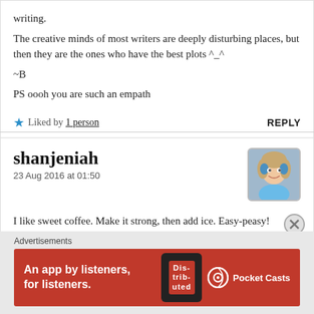writing.
The creative minds of most writers are deeply disturbing places, but then they are the ones who have the best plots ^_^
~B
PS oooh you are such an empath
Liked by 1 person   REPLY
shanjeniah
23 Aug 2016 at 01:50
I like sweet coffee. Make it strong, then add ice. Easy-peasy!
Around these parts, they sell blended iced coffee drinks in
Advertisements
[Figure (infographic): Red Pocket Casts advertisement banner: 'An app by listeners, for listeners.' with phone graphic and Pocket Casts logo]